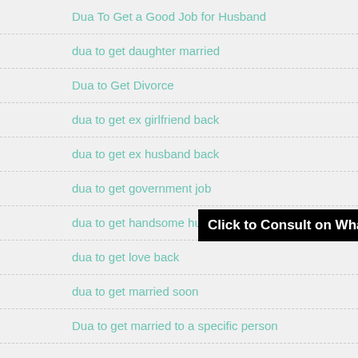Dua To Get a Good Job for Husband
dua to get daughter married
Dua to Get Divorce
dua to get ex girlfriend back
dua to get ex husband back
dua to get government job
dua to get handsome husband
dua to get love back
dua to get married soon
Dua to get married to a specific person
Click to Consult on Whatsapp